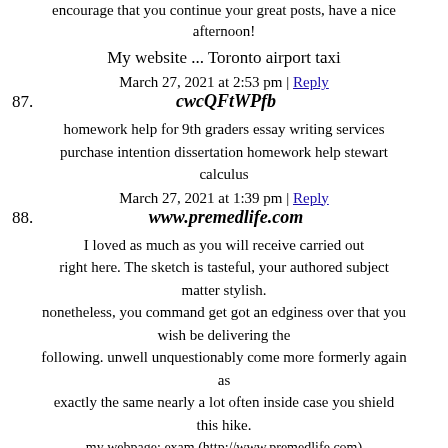encourage that you continue your great posts, have a nice afternoon!
My website ... Toronto airport taxi
March 27, 2021 at 2:53 pm | Reply
87. cwcQFtWPfb
homework help for 9th graders essay writing services purchase intention dissertation homework help stewart calculus
March 27, 2021 at 1:39 pm | Reply
88. www.premedlife.com
I loved as much as you will receive carried out right here. The sketch is tasteful, your authored subject matter stylish. nonetheless, you command get got an edginess over that you wish be delivering the following. unwell unquestionably come more formerly again as exactly the same nearly a lot often inside case you shield this hike.
my webpage: exam (http://www.premedlife.com)